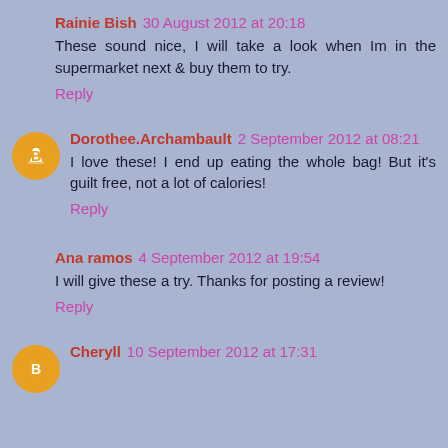Rainie Bish 30 August 2012 at 20:18
These sound nice, I will take a look when Im in the supermarket next & buy them to try.
Reply
Dorothee.Archambault 2 September 2012 at 08:21
I love these! I end up eating the whole bag! But it's guilt free, not a lot of calories!
Reply
Ana ramos 4 September 2012 at 19:54
I will give these a try. Thanks for posting a review!
Reply
Cheryll 10 September 2012 at 17:31